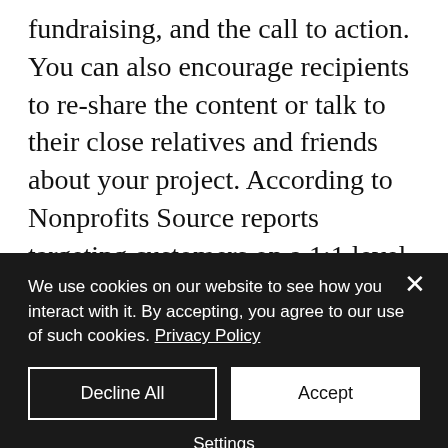fundraising, and the call to action. You can also encourage recipients to re-share the content or talk to their close relatives and friends about your project. According to Nonprofits Source reports targeting customers on a 1:1 level increases response rates up to 50% or more. Including a brochure of your past project can also help in amplifying your work and getting more donors on board. Remember to keep your emails short
We use cookies on our website to see how you interact with it. By accepting, you agree to our use of such cookies. Privacy Policy
Decline All
Accept
Settings